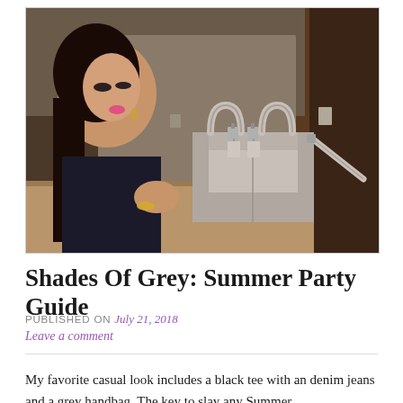[Figure (photo): Woman with long black hair and pink lipstick leaning on a surface next to a grey structured handbag with top handles, set against a dark warm-toned background.]
Shades Of Grey: Summer Party Guide
PUBLISHED ON July 21, 2018
Leave a comment
My favorite casual look includes a black tee with an denim jeans and a grey handbag. The key to slay any Summer